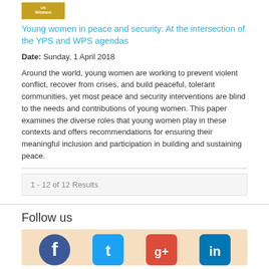[Figure (logo): UN Women logo gold/yellow box with white text]
Young women in peace and security: At the intersection of the YPS and WPS agendas
Date: Sunday, 1 April 2018
Around the world, young women are working to prevent violent conflict, recover from crises, and build peaceful, tolerant communities, yet most peace and security interventions are blind to the needs and contributions of young women. This paper examines the diverse roles that young women play in these contexts and offers recommendations for ensuring their meaningful inclusion and participation in building and sustaining peace.
1 - 12 of 12 Results
Follow us
[Figure (illustration): Social media icons: Facebook, Twitter, Google+, LinkedIn on peach/tan background]